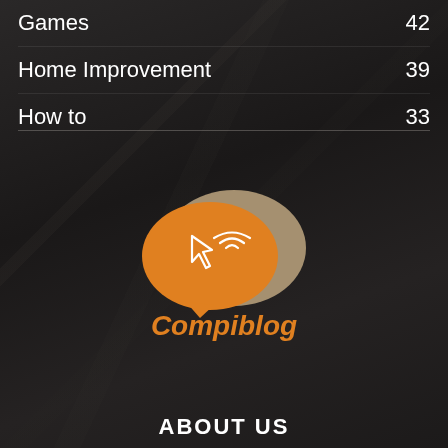Games  42
Home Improvement  39
How to  33
[Figure (logo): Compiblog logo: two speech bubble shapes (one taupe/grey-brown, one orange) overlapping, with a cursor/megaphone icon and wifi-like signal arcs. The word 'Compiblog' in bold orange text below the bubbles.]
ABOUT US